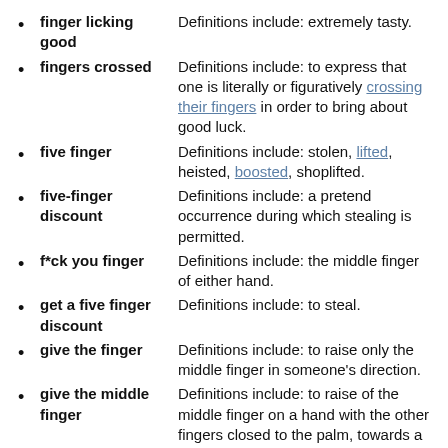finger licking good — Definitions include: extremely tasty.
fingers crossed — Definitions include: to express that one is literally or figuratively crossing their fingers in order to bring about good luck.
five finger — Definitions include: stolen, lifted, heisted, boosted, shoplifted.
five-finger discount — Definitions include: a pretend occurrence during which stealing is permitted.
f*ck you finger — Definitions include: the middle finger of either hand.
get a five finger discount — Definitions include: to steal.
give the finger — Definitions include: to raise only the middle finger in someone's direction.
give the middle finger — Definitions include: to raise of the middle finger on a hand with the other fingers closed to the palm, towards a person.
have sticky fingers — Definitions include: to be a thief.